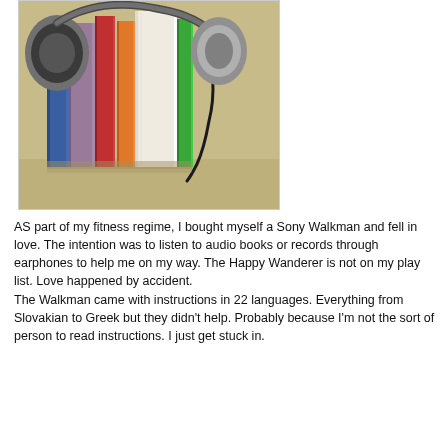[Figure (photo): Photo of several colorful books standing upright with a pair of headphones resting on top of them, with the headphone cord hanging down. Books have blue, purple, red, orange, white, and green spines.]
AS part of my fitness regime, I bought myself a Sony Walkman and fell in love. The intention was to listen to audio books or records through earphones to help me on my way. The Happy Wanderer is not on my play list. Love happened by accident.
The Walkman came with instructions in 22 languages. Everything from Slovakian to Greek but they didn't help. Probably because I'm not the sort of person to read instructions. I just get stuck in.